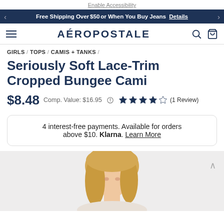Enable Accessibility
Free Shipping Over $50 or When You Buy Jeans   Details
AÉROPOSTALE
GIRLS / TOPS / CAMIS + TANKS /
Seriously Soft Lace-Trim Cropped Bungee Cami
$8.48   Comp. Value: $16.95   ★★★★☆ (1 Review)
4 interest-free payments. Available for orders above $10. Klarna. Learn More
[Figure (photo): Partial view of a blonde female model wearing the cami, cropped at the shoulders/head area against a light gray background.]